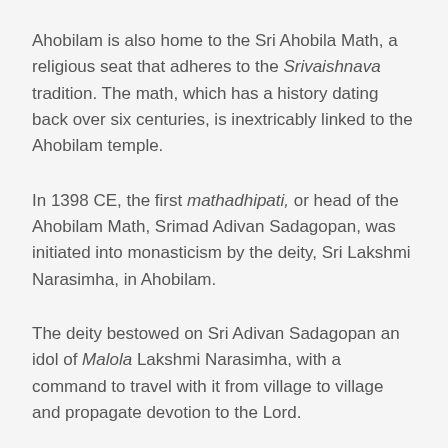Ahobilam is also home to the Sri Ahobila Math, a religious seat that adheres to the Srivaishnava tradition. The math, which has a history dating back over six centuries, is inextricably linked to the Ahobilam temple.
In 1398 CE, the first mathadhipati, or head of the Ahobilam Math, Srimad Adivan Sadagopan, was initiated into monasticism by the deity, Sri Lakshmi Narasimha, in Ahobilam.
The deity bestowed on Sri Adivan Sadagopan an idol of Malola Lakshmi Narasimha, with a command to travel with it from village to village and propagate devotion to the Lord.